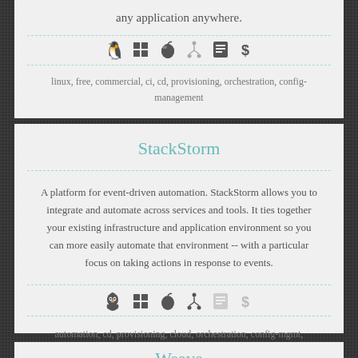any application anywhere.
[Figure (infographic): Platform/OS icons row: Linux, Windows, Apple/Mac, git/fork, bookmark/card, dollar sign. Some active (dark), some inactive (gray).]
linux, free, commercial, ci, cd, provisioning, orchestration, config-management
StackStorm
A platform for event-driven automation. StackStorm allows you to integrate and automate across services and tools. It ties together your existing infrastructure and application environment so you can more easily automate that environment -- with a particular focus on taking actions in response to events.
[Figure (infographic): Platform/OS icons row: Linux, Windows, Apple/Mac, git/fork active, bookmark/card inactive, dollar sign inactive.]
automation, cd, provisioning, cloud, orchestration, config-mgmt, orchestration, python, linux, open-source, apache2
Weave